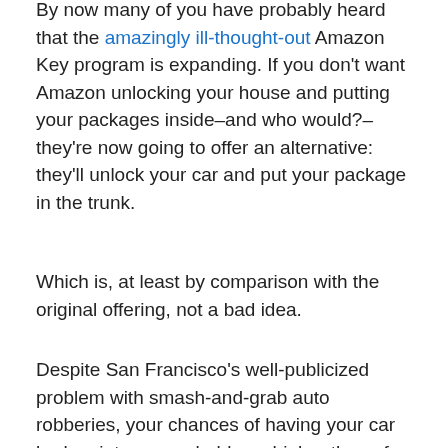By now many of you have probably heard that the amazingly ill-thought-out Amazon Key program is expanding. If you don't want Amazon unlocking your house and putting your packages inside–and who would?–they're now going to offer an alternative: they'll unlock your car and put your package in the trunk.
Which is, at least by comparison with the original offering, not a bad idea.
Despite San Francisco's well-publicized problem with smash-and-grab auto robberies, your chances of having your car broken into are probably no higher than of having your house robbed. Assuming, of course, that nobody is following Amazon delivery peons around their routes and texting car delivery locations to a confederate.
Anyway, the service will be offered in conjunction with GM